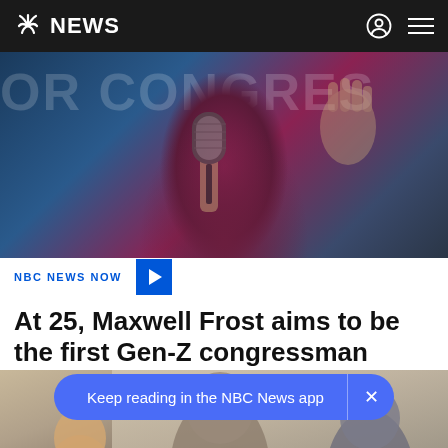NBC NEWS
[Figure (photo): Person holding microphone on stage with 'FOR CONGRESS' banner visible in background, wearing dark blazer and burgundy turtleneck]
NBC NEWS NOW
At 25, Maxwell Frost aims to be the first Gen-Z congressman
[Figure (photo): Three people standing together: a blonde woman on the left, an older man with glasses in center, and a man in suit on the right, in front of a decorated wall]
Keep reading in the NBC News app